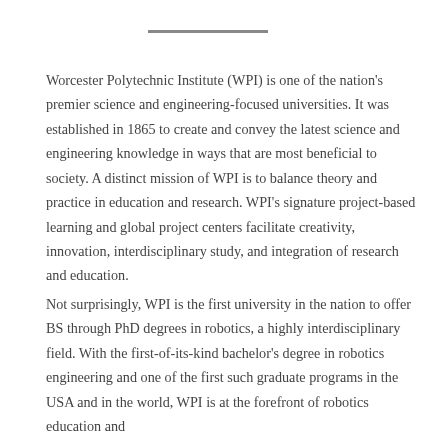Worcester Polytechnic Institute (WPI) is one of the nation's premier science and engineering-focused universities. It was established in 1865 to create and convey the latest science and engineering knowledge in ways that are most beneficial to society. A distinct mission of WPI is to balance theory and practice in education and research. WPI's signature project-based learning and global project centers facilitate creativity, innovation, interdisciplinary study, and integration of research and education.
Not surprisingly, WPI is the first university in the nation to offer BS through PhD degrees in robotics, a highly interdisciplinary field. With the first-of-its-kind bachelor's degree in robotics engineering and one of the first such graduate programs in the USA and in the world, WPI is at the forefront of robotics education and